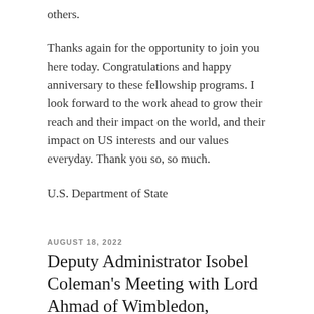others.
Thanks again for the opportunity to join you here today. Congratulations and happy anniversary to these fellowship programs. I look forward to the work ahead to grow their reach and their impact on the world, and their impact on US interests and our values everyday. Thank you so, so much.
U.S. Department of State
AUGUST 18, 2022
Deputy Administrator Isobel Coleman's Meeting with Lord Ahmad of Wimbledon, Minister of State for South and Central Asia, North Africa, the United Nations and the Commonwealth, House of Lords of